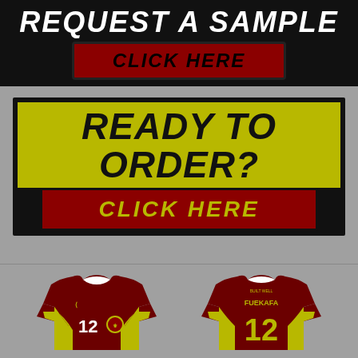REQUEST A SAMPLE
CLICK HERE
READY TO ORDER?
CLICK HERE
[Figure (illustration): Front and back view of a custom sports jersey in dark red/maroon with yellow-green accent panels. Front shows number 12 and a team crest. Back shows number 12 and name FUEKAFA.]